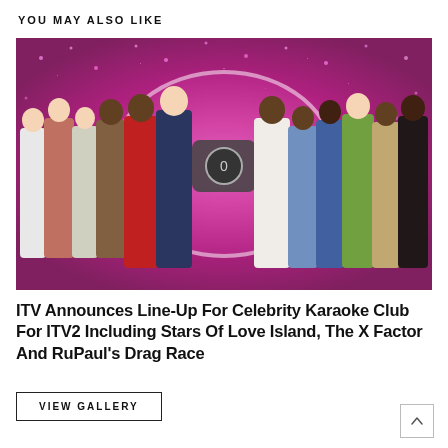YOU MAY ALSO LIKE
[Figure (photo): Group photo of celebrities posing on a sparkly pink background for ITV Celebrity Karaoke Club. A camera/video icon with '0' is overlaid in the center.]
ITV Announces Line-Up For Celebrity Karaoke Club For ITV2 Including Stars Of Love Island, The X Factor And RuPaul's Drag Race
VIEW GALLERY